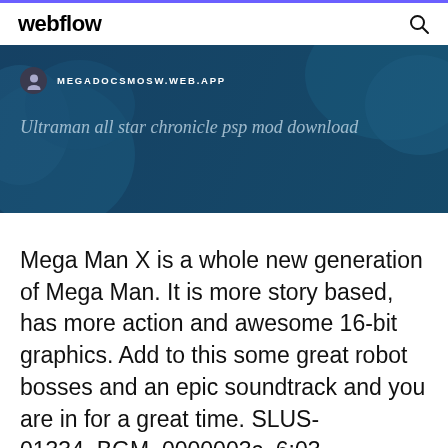webflow
[Figure (screenshot): Banner image with dark teal/blue background showing a map silhouette. Contains site label 'MEGADOCSMOSW.WEB.APP' with avatar icon, and italic title text 'Ultraman all star chronicle psp mod download']
Mega Man X is a whole new generation of Mega Man. It is more story based, has more action and awesome 16-bit graphics. Add to this some great robot bosses and an epic soundtrack and you are in for a great time. SLUS-01334_BGM_0000003c, 6:03,